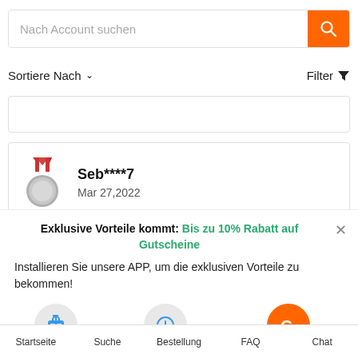Nach Account suchen
Sortiere Nach   Filter
[Figure (screenshot): Empty list card placeholder]
Seb****7
Mar 27,2022
Exklusive Vorteile kommt: Bis zu 10% Rabatt auf Gutscheine
Installieren Sie unsere APP, um die exklusiven Vorteile zu bekommen!
1.klicken   2.Zum Startbildschirm hinzufügen   Coupon erhalten
Startseite   Suche   Bestellung   FAQ   Chat